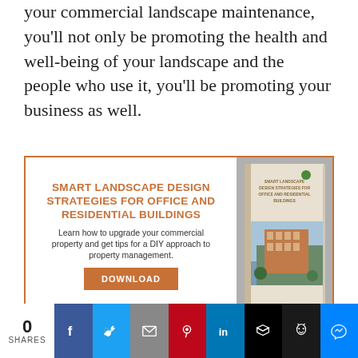your commercial landscape maintenance, you'll not only be promoting the health and well-being of your landscape and the people who use it, you'll be promoting your business as well.
[Figure (infographic): Advertisement box with orange border. Left side has title 'SMART LANDSCAPE DESIGN STRATEGIES FOR OFFICE AND RESIDENTIAL BUILDINGS' in orange bold uppercase, description text 'Learn how to upgrade your commercial property and get tips for a DIY approach to property management.' and an orange DOWNLOAD button. Right side shows a book cover illustration with the same title and a photo of an office building.]
[Figure (infographic): Social share bar at bottom. Shows '0 SHARES' on left white section, then colored icon buttons for Facebook (blue), Twitter (light blue), Email (grey), Pinterest (red), LinkedIn (blue), Buffer (black), Ghost/owl icon (dark), and Messenger (blue).]